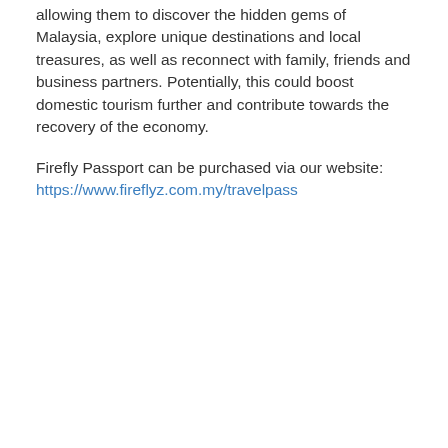allowing them to discover the hidden gems of Malaysia, explore unique destinations and local treasures, as well as reconnect with family, friends and business partners. Potentially, this could boost domestic tourism further and contribute towards the recovery of the economy.
Firefly Passport can be purchased via our website: https://www.fireflyz.com.my/travelpass